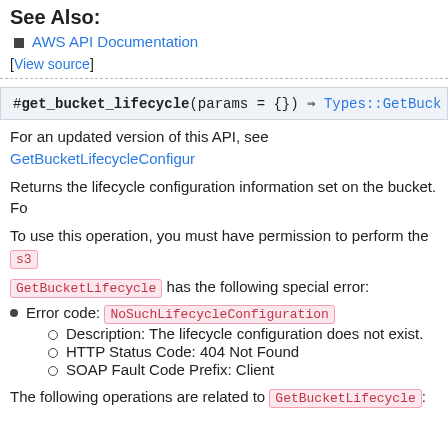See Also:
AWS API Documentation
[View source]
#get_bucket_lifecycle(params = {}) ⇒ Types::GetBuck
For an updated version of this API, see GetBucketLifecycleConfigur
Returns the lifecycle configuration information set on the bucket. Fo
To use this operation, you must have permission to perform the s3
GetBucketLifecycle has the following special error:
Error code: NoSuchLifecycleConfiguration
Description: The lifecycle configuration does not exist.
HTTP Status Code: 404 Not Found
SOAP Fault Code Prefix: Client
The following operations are related to GetBucketLifecycle: